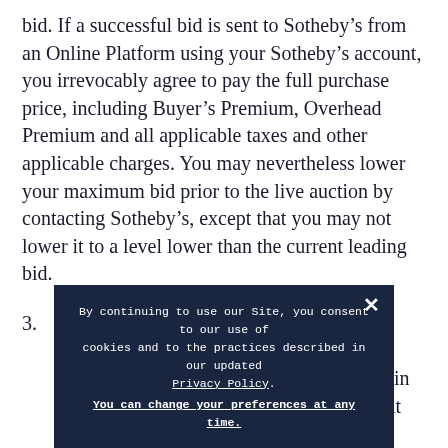bid. If a successful bid is sent to Sotheby's from an Online Platform using your Sotheby's account, you irrevocably agree to pay the full purchase price, including Buyer's Premium, Overhead Premium and all applicable taxes and other applicable charges. You may nevertheless lower your maximum bid prior to the live auction by contacting Sotheby's, except that you may not lower it to a level lower than the current leading bid.
3.  The next bidding increment is shown for your convenience. The auctioneer has discretion to vary increments for bidders in the auction room and on the telephone but bidders using Online Platforms to bid [text obscured by overlay] or the [text obscured by overlay] e loc [text obscured] th [text obscured]
By continuing to use our Site, you consent to our use of cookies and to the practices described in our updated Privacy Policy. You can change your preferences at any time.